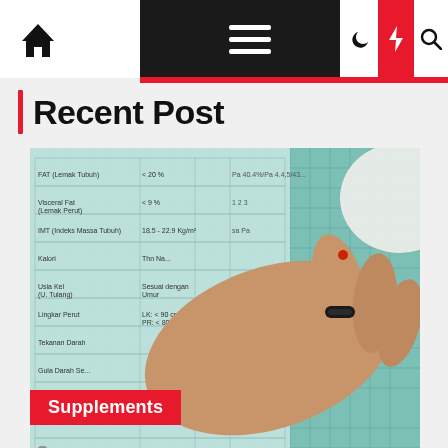Navigation bar with home icon, menu, moon icon, lightning icon, search icon
Recent Post
[Figure (photo): A gloved healthcare worker performs a blood glucose test on a patient's finger using a glucometer reading 158 mg/dL, against a background of medical chart paper with health metrics in Indonesian language.]
Supplements